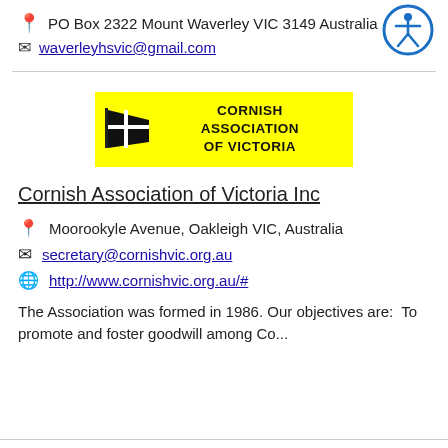PO Box 2322 Mount Waverley VIC 3149 Australia
waverleyhsvic@gmail.com
[Figure (illustration): Accessibility icon - circular blue border with white figure of a person with arms and legs outstretched]
[Figure (logo): Cornish Association of Victoria logo - yellow background with black Cornish flag (white cross on black) and bold text 'CORNISH ASSOCIATION OF VICTORIA']
Cornish Association of Victoria Inc
Moorookyle Avenue, Oakleigh VIC, Australia
secretary@cornishvic.org.au
http://www.cornishvic.org.au/#
The Association was formed in 1986. Our objectives are:  To promote and foster goodwill among Co...